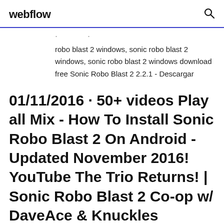webflow
robo blast 2 windows, sonic robo blast 2 windows, sonic robo blast 2 windows download free Sonic Robo Blast 2 2.2.1 - Descargar
01/11/2016 · 50+ videos Play all Mix - How To Install Sonic Robo Blast 2 On Android - Updated November 2016! YouTube The Trio Returns! | Sonic Robo Blast 2 Co-op w/ DaveAce & Knuckles Channel 3 & Knuckles